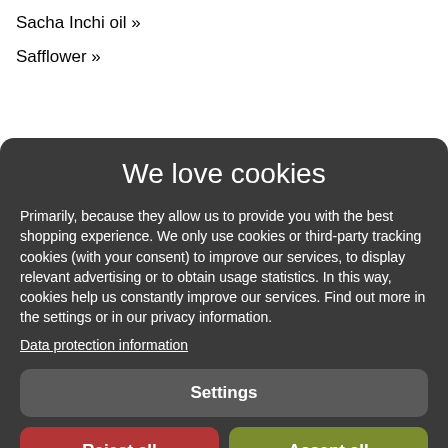Sacha Inchi oil »
Safflower »
We love cookies
Primarily, because they allow us to provide you with the best shopping experience. We only use cookies or third-party tracking cookies (with your consent) to improve our services, to display relevant advertising or to obtain usage statistics. In this way, cookies help us constantly improve our services. Find out more in the settings or in our privacy information.
Data protection information
Settings
Reject all
Accept all